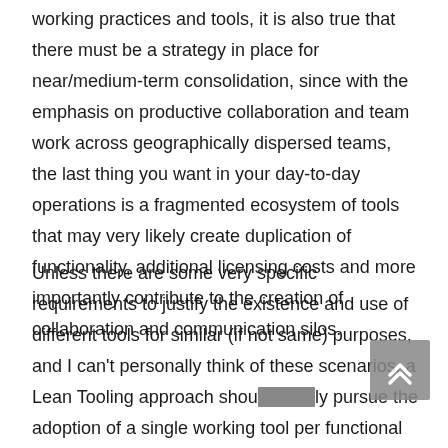working practices and tools, it is also true that there must be a strategy in place for near/medium-term consolidation, since with the emphasis on productive collaboration and team work across geographically dispersed teams, the last thing you want in your day-to-day operations is a fragmented ecosystem of tools that may very likely create duplication of functionality, additional licensing costs and more importantly contribute to the creation of collaboration and communication silos.
Unless there are some very specific requirements to justify the existence and use of different tools for similar (if not same) purposes, and I can't personally think of these scenarios, a Lean Tooling approach should ideally pursue the adoption of a single working tool per functional